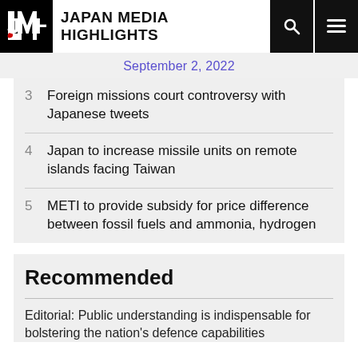Japan Media Highlights
September 2, 2022
3 Foreign missions court controversy with Japanese tweets
4 Japan to increase missile units on remote islands facing Taiwan
5 METI to provide subsidy for price difference between fossil fuels and ammonia, hydrogen
Recommended
Editorial: Public understanding is indispensable for bolstering the nation's defence capabilities